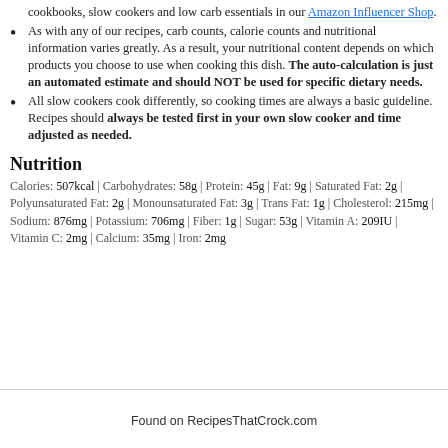cookbooks, slow cookers and low carb essentials in our Amazon Influencer Shop.
As with any of our recipes, carb counts, calorie counts and nutritional information varies greatly. As a result, your nutritional content depends on which products you choose to use when cooking this dish. The auto-calculation is just an automated estimate and should NOT be used for specific dietary needs.
All slow cookers cook differently, so cooking times are always a basic guideline. Recipes should always be tested first in your own slow cooker and time adjusted as needed.
Nutrition
Calories: 507kcal | Carbohydrates: 58g | Protein: 45g | Fat: 9g | Saturated Fat: 2g | Polyunsaturated Fat: 2g | Monounsaturated Fat: 3g | Trans Fat: 1g | Cholesterol: 215mg | Sodium: 876mg | Potassium: 706mg | Fiber: 1g | Sugar: 53g | Vitamin A: 209IU | Vitamin C: 2mg | Calcium: 35mg | Iron: 2mg
Found on RecipesThatCrock.com